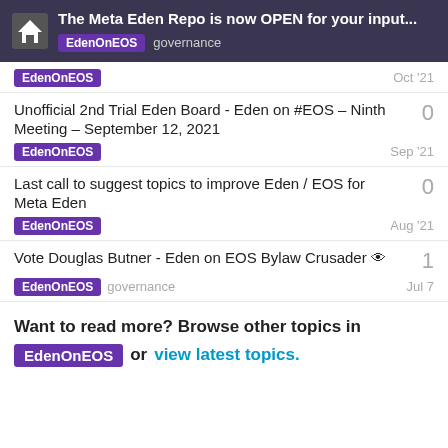The Meta Eden Repo is now OPEN for your input... EdenOnEOS governance
EdenOnEOS   Oct '21
Unofficial 2nd Trial Eden Board - Eden on #EOS – Ninth Meeting – September 12, 2021   0   EdenOnEOS   Sep '21
Last call to suggest topics to improve Eden / EOS for Meta Eden   0   EdenOnEOS   Aug '21
Vote Douglas Butner - Eden on EOS Bylaw Crusader 👁   1   EdenOnEOS   governance   Jul 7
Want to read more? Browse other topics in EdenOnEOS or view latest topics.